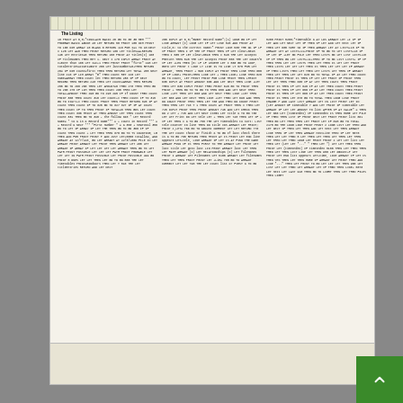The Listing
Multi-column program listing in BASIC for Sinclair computer. Three columns of dense code listing approximately 60+ lines each covering program logic for record keeping, input/output, and data management routines.
SINCLAIR PROJECTS  April/May 1984    11